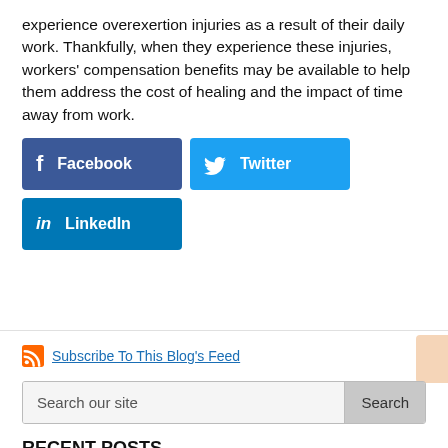experience overexertion injuries as a result of their daily work. Thankfully, when they experience these injuries, workers' compensation benefits may be available to help them address the cost of healing and the impact of time away from work.
[Figure (other): Social sharing buttons: Facebook (dark blue), Twitter (light blue), LinkedIn (blue)]
Subscribe To This Blog's Feed
Search our site
RECENT POSTS
Can dehydration contribute to a workplace injury?